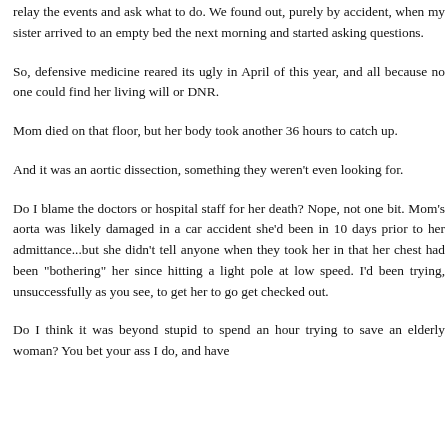relay the events and ask what to do. We found out, purely by accident, when my sister arrived to an empty bed the next morning and started asking questions.
So, defensive medicine reared its ugly in April of this year, and all because no one could find her living will or DNR.
Mom died on that floor, but her body took another 36 hours to catch up.
And it was an aortic dissection, something they weren't even looking for.
Do I blame the doctors or hospital staff for her death? Nope, not one bit. Mom's aorta was likely damaged in a car accident she'd been in 10 days prior to her admittance...but she didn't tell anyone when they took her in that her chest had been "bothering" her since hitting a light pole at low speed. I'd been trying, unsuccessfully as you see, to get her to go get checked out.
Do I think it was beyond stupid to spend an hour trying to save an elderly woman? You bet your ass I do, and have